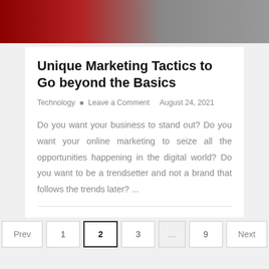[Figure (photo): Partial hero image showing red and grey tones, appears to be a person in a suit]
Unique Marketing Tactics to Go beyond the Basics
Technology  ·  Leave a Comment     August 24, 2021
Do you want your business to stand out? Do you want your online marketing to seize all the opportunities happening in the digital world? Do you want to be a trendsetter and not a brand that follows the trends later? ...
Prev  1  2  3  ...  9  Next